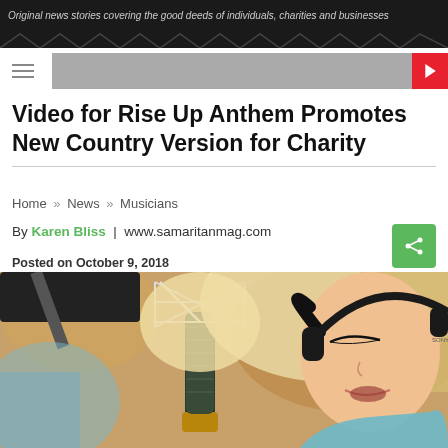Original news stories covering the good deeds of individuals, charities and businesses
Video for Rise Up Anthem Promotes New Country Version for Charity
Home » News » Musicians
By Karen Bliss  |  www.samaritanmag.com
Posted on October 9, 2018
[Figure (photo): Blonde woman wearing black Sony headphones singing into a vintage gold/dark microphone in a recording studio setting]